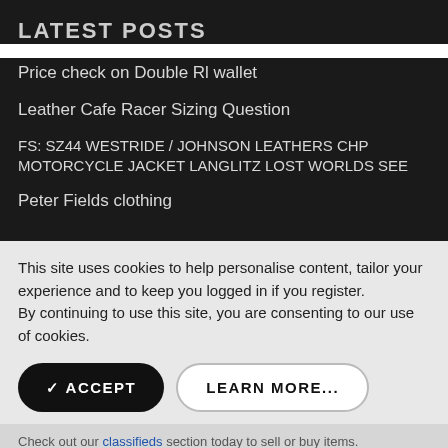LATEST POSTS
Price check on Double Rl wallet
Leather Cafe Racer Sizing Question
FS: SZ44 WESTRIDE / JOHNSON LEATHERS CHP MOTORCYCLE JACKET LANGLITZ LOST WORLDS SEE
Peter Fields clothing
This site uses cookies to help personalise content, tailor your experience and to keep you logged in if you register.
By continuing to use this site, you are consenting to our use of cookies.
✓ ACCEPT   LEARN MORE...
Check out our classifieds section today to sell or buy items.
Important Links
Help   T...
[Figure (screenshot): Advertisement banner: Ashburn OPEN 8AM-10PM, 44110 Ashburn Shopping Plaza...]